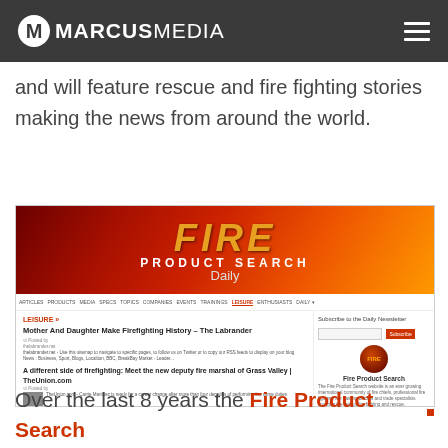MARCUS MEDIA
Fire Product Search Daily published daily and will feature rescue and fire fighting stories making the news from around the world.
[Figure (screenshot): Screenshot of Fire Product Search Daily website showing the banner with 'FIRE PRODUCT SEARCH Daily' in orange/gold text on a red-orange background, a navigation bar, and article listings including 'Mother And Daughter Make Firefighting History - The Labrander' and 'A different side of firefighting: Meet the new deputy fire marshal of Grass Valley | TheUnion.com', with a sidebar showing Fire Product Search logo and subscribe newsletter box.]
Over the last 8 years the Fire Product Search